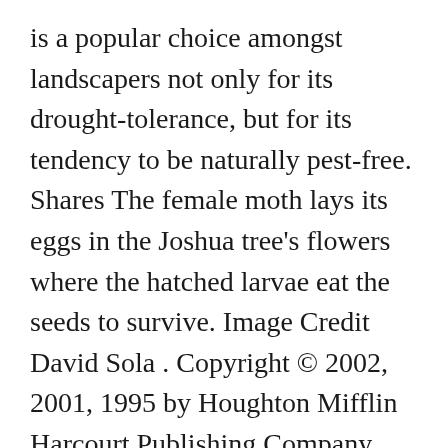is a popular choice amongst landscapers not only for its drought-tolerance, but for its tendency to be naturally pest-free. Shares The female moth lays its eggs in the Joshua tree's flowers where the hatched larvae eat the seeds to survive. Image Credit David Sola . Copyright © 2002, 2001, 1995 by Houghton Mifflin Harcourt Publishing Company. Cool deserts are located at higher elevations in the temperate regions, often on the lee side of a barrier mountain range where the prevailing winds drop their moisture before crossing the range. By late March, when ski season would normally be in full swing, hotels were empty, streets deserted. Gardeners commonly deprive this